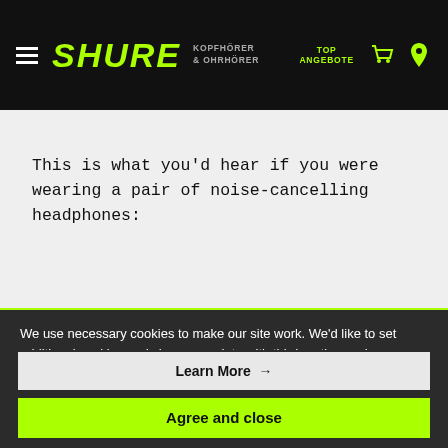SHURE | KOPFHÖRER & OHRHÖRER | TOP ANGEBOTE
This is what you'd hear if you were wearing a pair of noise-cancelling headphones:
We use necessary cookies to make our site work. We'd like to set additional cookies and share your data with third parties such as Facebook Inc. or Google LLC to give you a better browsing experience, analyze
Learn More →
Agree and close